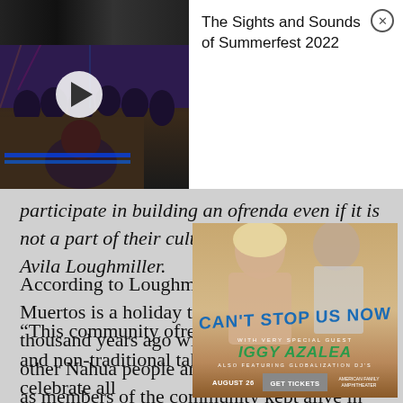[Figure (screenshot): Video thumbnail showing a concert/festival scene with mixing board and audience, dark lighting with stage lights]
The Sights and Sounds of Summerfest 2022
participate in building an ofrenda even if it is not a part of their culture or tradition,” says Avila Loughmiller.
According to Loughmiller, Día de los Muertos is a holiday that originated several thousand years ago with the Aztec, Toltec and other Nahua people and they viewed the dead as members of the community kept alive in memory and spirit.
[Figure (advertisement): Concert advertisement: CAN'T STOP US NOW with very special guest Iggy Azalea, also featuring Globalization DJs, August 28, Get Tickets, American Family Amphitheater]
“This community ofrenda is both a traditional and non-traditional take on this idea to celebrate all